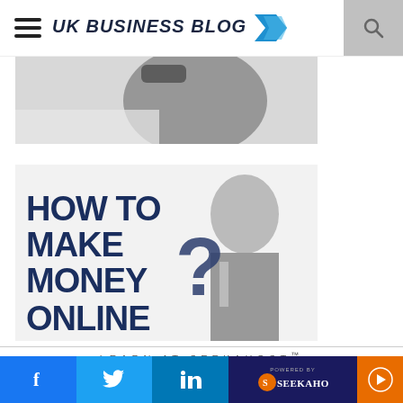UK BUSINESS BLOG
[Figure (photo): Partial cropped business photo showing a person in a suit, top portion of image]
[Figure (infographic): Promotional image with bold dark blue text 'HOW TO MAKE MONEY ONLINE' with a question mark and a businessman pointing, on white background]
LEARN AT SEEKAHOST™
[Figure (screenshot): Social media share bar with Facebook, Twitter, LinkedIn icons and SeekaHost branding, plus orange arrow button]